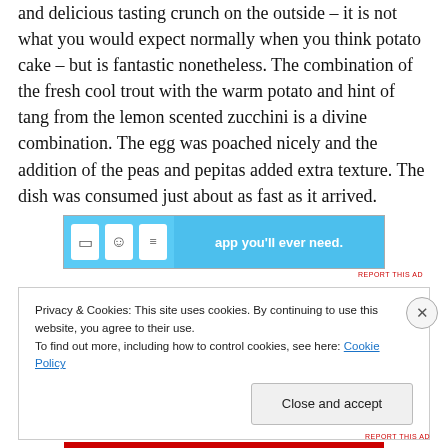and delicious tasting crunch on the outside – it is not what you would expect normally when you think potato cake – but is fantastic nonetheless. The combination of the fresh cool trout with the warm potato and hint of tang from the lemon scented zucchini is a divine combination. The egg was poached nicely and the addition of the peas and pepitas added extra texture. The dish was consumed just about as fast as it arrived.
[Figure (other): Advertisement banner with light blue background showing app icons and text 'app you'll ever need.']
REPORT THIS AD
Privacy & Cookies: This site uses cookies. By continuing to use this website, you agree to their use.
To find out more, including how to control cookies, see here: Cookie Policy
Close and accept